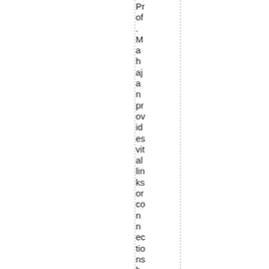Prof. Mahajan provides vital links or connections between